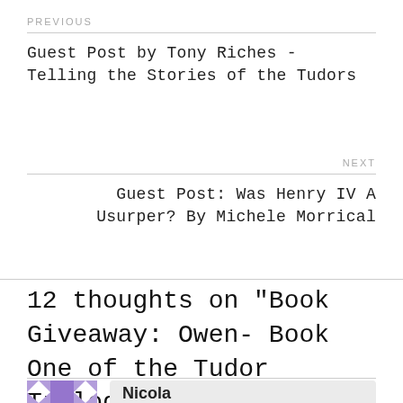PREVIOUS
Guest Post by Tony Riches - Telling the Stories of the Tudors
NEXT
Guest Post: Was Henry IV A Usurper? By Michele Morrical
12 thoughts on “Book Giveaway: Owen- Book One of the Tudor Trilogy by Tony Riches”
Nicola